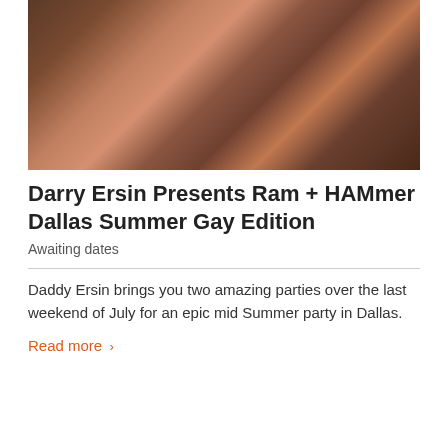[Figure (photo): Two muscular shirtless men wearing leather harnesses, one with a tattoo on their arm, photographed closely together]
Darry Ersin Presents Ram + HAMmer Dallas Summer Gay Edition
Awaiting dates
Daddy Ersin brings you two amazing parties over the last weekend of July for an epic mid Summer party in Dallas.
Read more >